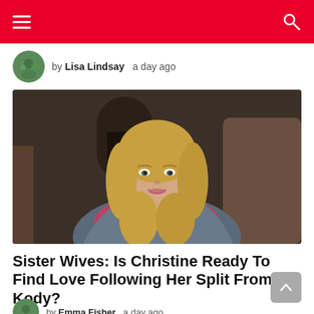Navigation header with hamburger menu and search icon
by Lisa Lindsay  a day ago
[Figure (photo): Photo of a blonde woman (Christine) sitting and looking at the camera, wearing a grey cardigan over a pink/red top, with a dark room background.]
Sister Wives: Is Christine Ready To Find Love Following Her Split From Kody?
by Emma Fisher  a day ago